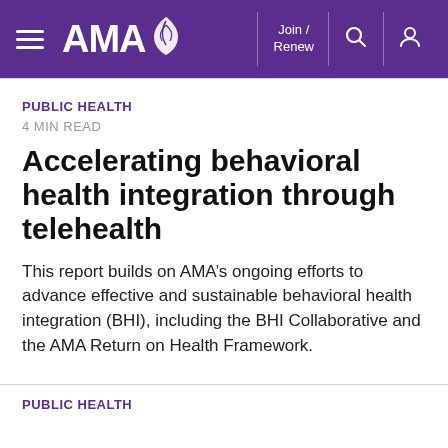[Figure (logo): AMA (American Medical Association) navigation header bar in purple with hamburger menu, AMA logo with leaf, Join/Renew link, search icon, and user icon]
PUBLIC HEALTH
4 MIN READ
Accelerating behavioral health integration through telehealth
This report builds on AMA’s ongoing efforts to advance effective and sustainable behavioral health integration (BHI), including the BHI Collaborative and the AMA Return on Health Framework.
PUBLIC HEALTH